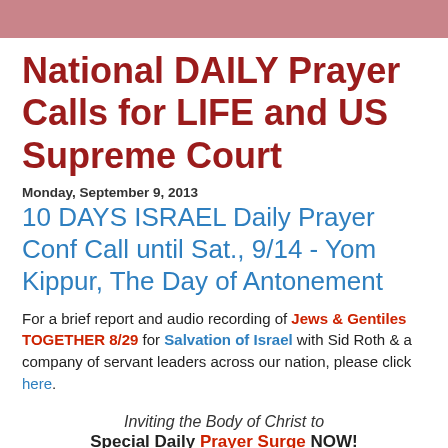National DAILY Prayer Calls for LIFE and US Supreme Court
Monday, September 9, 2013
10 DAYS ISRAEL Daily Prayer Conf Call until Sat., 9/14 - Yom Kippur, The Day of Antonement
For a brief report and audio recording of Jews & Gentiles TOGETHER 8/29 for Salvation of Israel with Sid Roth & a company of servant leaders across our nation, please click here.
Inviting the Body of Christ to
Special Daily Prayer Surge NOW!